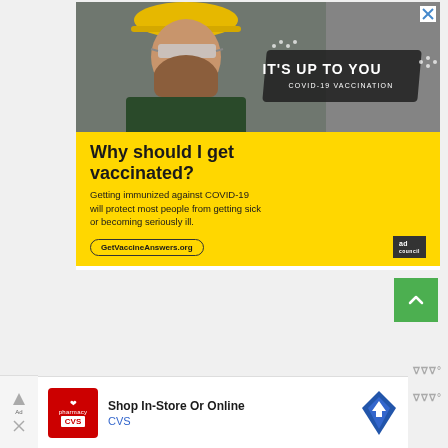[Figure (photo): Advertisement banner featuring a construction worker in a yellow hard hat and safety glasses against a dark background, with text 'IT'S UP TO YOU COVID-19 VACCINATION' on a dark badge. Yellow section below reads 'Why should I get vaccinated? Getting immunized against COVID-19 will protect most people from getting sick or becoming seriously ill.' with URL GetVaccineAnswers.org and Ad Council logo.]
[Figure (screenshot): Green scroll-to-top button with an upward chevron arrow.]
[Figure (photo): CVS Pharmacy advertisement at bottom: 'Shop In-Store Or Online' with CVS logo and a blue navigation/map pin icon.]